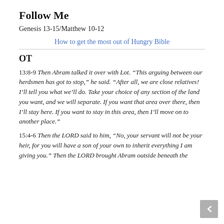Follow Me
Genesis 13-15/Matthew 10-12
How to get the most out of Hungry Bible
OT
13:8-9 Then Abram talked it over with Lot. “This arguing between our herdsmen has got to stop,” he said. “After all, we are close relatives! I’ll tell you what we’ll do. Take your choice of any section of the land you want, and we will separate. If you want that area over there, then I’ll stay here. If you want to stay in this area, then I’ll move on to another place.”
15:4-6 Then the LORD said to him, “No, your servant will not be your heir, for you will have a son of your own to inherit everything I am giving you.” Then the LORD brought Abram outside beneath the